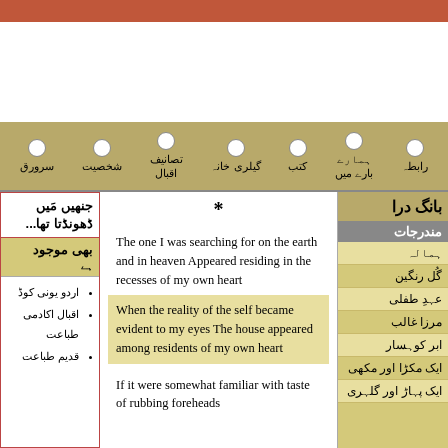Top navigation bar with orange header and tan menu items: سرورق, شخصیت, تصانیف, اقبال, گیلری خانہ, کتب, ہمارے بارے میں, رابطہ
*
The one I was searching for on the earth and in heaven
Appeared residing in the recesses of my own heart
When the reality of the self became evident to my eyes
The house appeared among residents of my own heart
If it were somewhat familiar with taste of rubbing foreheads
جنھیں مَیں ڈھونڈتا تھا...
بھی موجود
اردو یونی کوڈ
اقبال اکادمی طباعت
قدیم طباعت
بانگ درا
مندرجات
ہمالہ
گُل رنگین
عہدِ طفلی
مرزا غالب
ابر کوہسار
ایک مکڑا اور مکھی
ایک پہاڑ اور گلہری